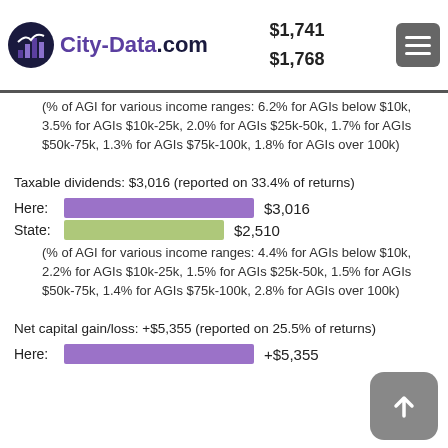City-Data.com | This zip code: $1,741 | Iowa: $1,768
(% of AGI for various income ranges: 6.2% for AGIs below $10k, 3.5% for AGIs $10k-25k, 2.0% for AGIs $25k-50k, 1.7% for AGIs $50k-75k, 1.3% for AGIs $75k-100k, 1.8% for AGIs over 100k)
Taxable dividends: $3,016 (reported on 33.4% of returns)
[Figure (bar-chart): Taxable dividends comparison]
(% of AGI for various income ranges: 4.4% for AGIs below $10k, 2.2% for AGIs $10k-25k, 1.5% for AGIs $25k-50k, 1.5% for AGIs $50k-75k, 1.4% for AGIs $75k-100k, 2.8% for AGIs over 100k)
Net capital gain/loss: +$5,355 (reported on 25.5% of returns)
[Figure (bar-chart): Net capital gain/loss - Here]